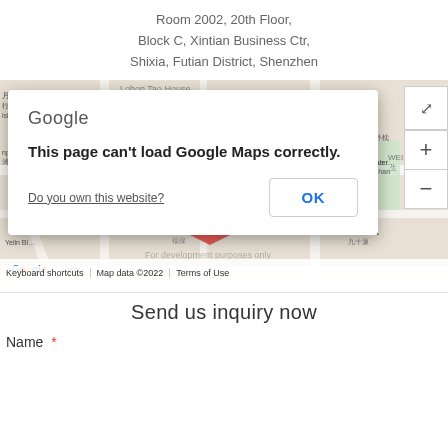Room 2002, 20th Floor,
Block C, Xintian Business Ctr,
Shixia, Futian District, Shenzhen
[Figure (screenshot): Google Maps embed showing Fubao Neighborhood / Jiushixia area in Shenzhen with a dialog overlay: 'This page can't load Google Maps correctly.' with an OK button and 'Do you own this website?' link. Map shows streets, landmarks including Shidu restaurant marker, Yihe Catering, Zhongshan area. Zoom controls visible on right. Footer shows: Keyboard shortcuts | Map data ©2022 | Terms of Use. Watermark: For development purposes only.]
Send us inquiry now
Name  *